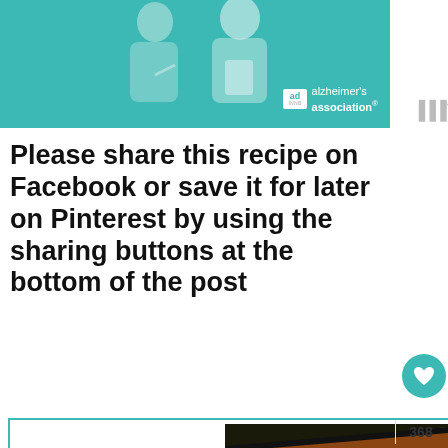[Figure (illustration): Advertisement banner with teal background showing illustrated elderly woman and younger person, with Alzheimer's Association logo and 'ad' badge.]
Please share this recipe on Facebook or save it for later on Pinterest by using the sharing buttons at the bottom of the post
[Figure (photo): Close-up photo of roasted colorful carrots (purple, orange, green) arranged diagonally.]
WHAT'S NEXT → Roasted Vegetable...
“Let’s hang out and talk!”